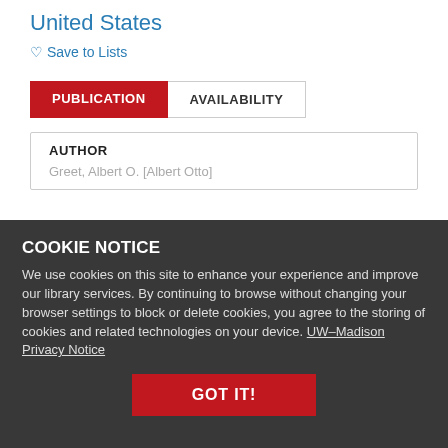United States
♡ Save to Lists
PUBLICATION   AVAILABILITY
| AUTHOR |
| --- |
| Greet, Albert O. [Albert Otto] |
COOKIE NOTICE
We use cookies on this site to enhance your experience and improve our library services. By continuing to browse without changing your browser settings to block or delete cookies, you agree to the storing of cookies and related technologies on your device. UW–Madison Privacy Notice
GOT IT!